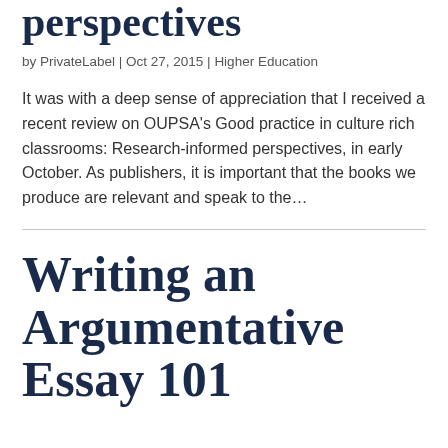perspectives
by PrivateLabel | Oct 27, 2015 | Higher Education
It was with a deep sense of appreciation that I received a recent review on OUPSA’s Good practice in culture rich classrooms: Research-informed perspectives, in early October. As publishers, it is important that the books we produce are relevant and speak to the…
Writing an Argumentative Essay 101